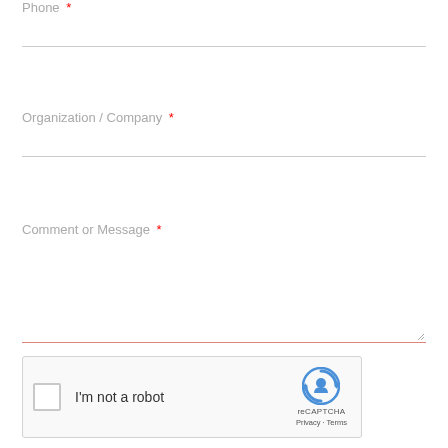Phone *
Organization / Company *
Comment or Message *
[Figure (other): reCAPTCHA widget with checkbox labeled 'I'm not a robot', reCAPTCHA logo, Privacy and Terms links]